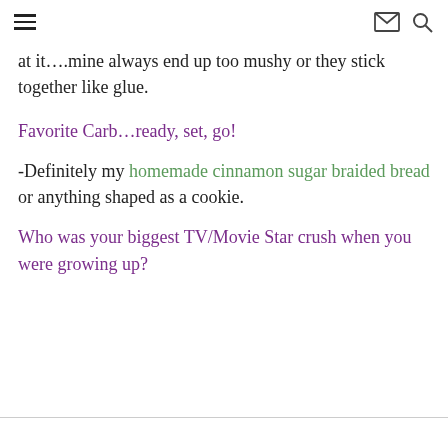Navigation header with hamburger menu, mail icon, and search icon
at it….mine always end up too mushy or they stick together like glue.
Favorite Carb…ready, set, go!
-Definitely my homemade cinnamon sugar braided bread or anything shaped as a cookie.
Who was your biggest TV/Movie Star crush when you were growing up?